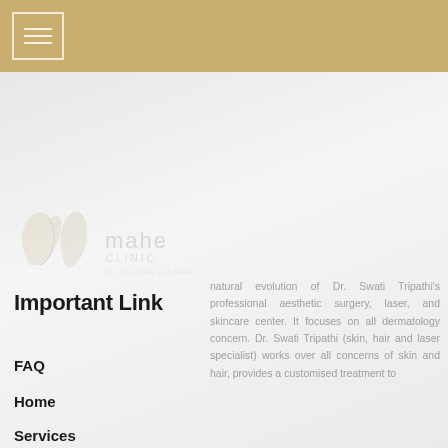[Figure (logo): Mahe Clinic logo - faded watermark showing stylized leaf/face icon and 'mahe clinic' text]
Important Link
natural evolution of Dr. Swati Tripathi's professional aesthetic surgery, laser, and skincare center. It focuses on all dermatology concern. Dr. Swati Tripathi (skin, hair and laser specialist) works over all concerns of skin and hair, provides a customised treatment to
FAQ
Home
Services